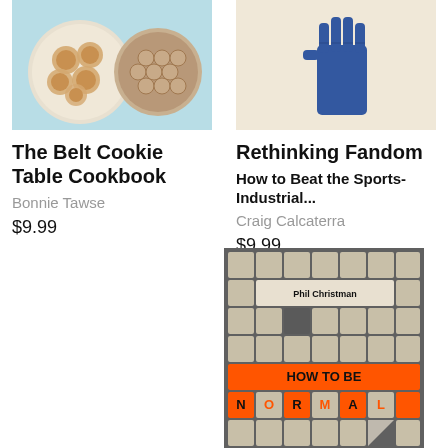[Figure (illustration): Book cover for The Belt Cookie Table Cookbook showing two plates of cookies on a light blue background]
The Belt Cookie Table Cookbook
Bonnie Tawse
$9.99
[Figure (illustration): Book cover for Rethinking Fandom showing a blue illustrated hand/fist on a cream background]
Rethinking Fandom
How to Beat the Sports-Industrial...
Craig Calcaterra
$9.99
[Figure (illustration): Book cover for How to Be Normal by Phil Christman, styled as a crossword puzzle grid with orange highlighted squares spelling HOW TO BE NORMAL]